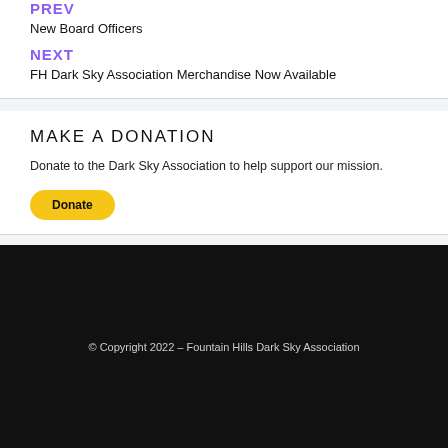PREV
New Board Officers
NEXT
FH Dark Sky Association Merchandise Now Available
MAKE A DONATION
Donate to the Dark Sky Association to help support our mission.
Donate
© Copyright 2022 – Fountain Hills Dark Sky Association